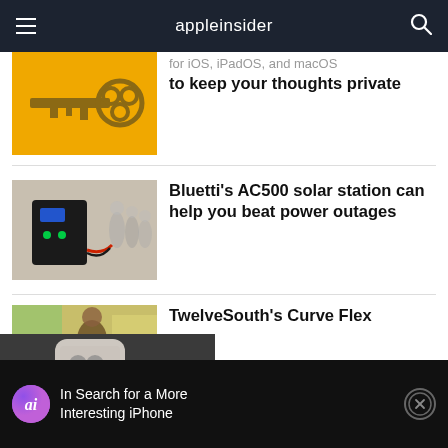appleinsider
[Figure (photo): Yellow background with a decorative old-style key graphic]
for iOS, iPadOS, and macOS to keep your thoughts private
[Figure (photo): Bluetti AC500 solar power station on a table in a room with people]
Bluetti's AC500 solar station can help you beat power outages
[Figure (photo): TwelveSouth Curve Flex product image]
TwelveSouth's Curve Flex
[Figure (photo): Video overlay showing an iPhone with play button]
In Search for a More Interesting iPhone